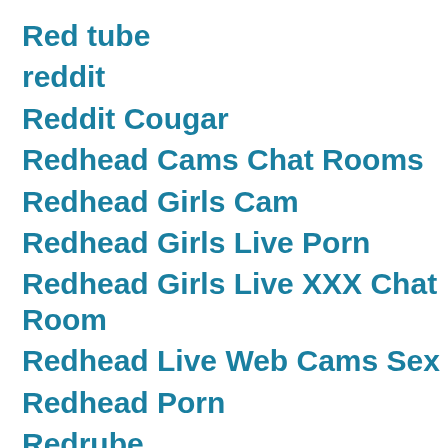Red tube
reddit
Reddit Cougar
Redhead Cams Chat Rooms
Redhead Girls Cam
Redhead Girls Live Porn
Redhead Girls Live XXX Chat Room
Redhead Live Web Cams Sex
Redhead Porn
Redrube